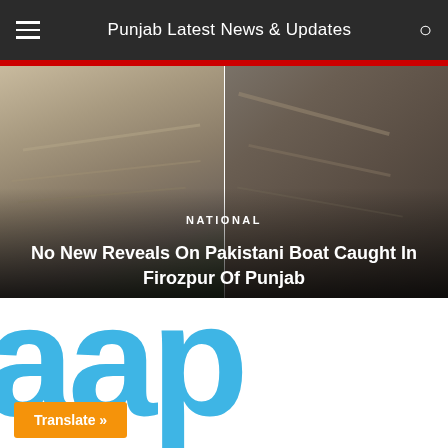Punjab Latest News & Updates
[Figure (photo): Two side-by-side photos of a wooden Pakistani boat caught in Firozpur, Punjab]
NATIONAL
No New Reveals On Pakistani Boat Caught In Firozpur Of Punjab
[Figure (logo): AAP (Aam Aadmi Party) logo in large blue letters]
Translate »